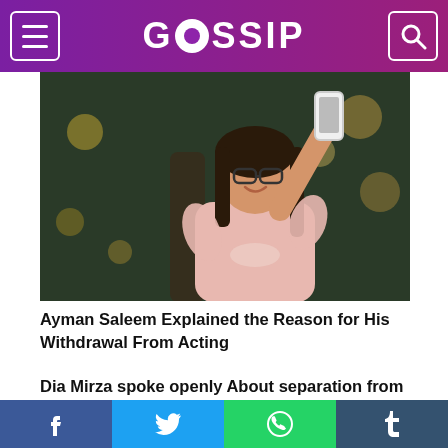GOSSIP
[Figure (photo): Young woman in glasses and pink top taking a selfie with bokeh lights in background]
Ayman Saleem Explained the Reason for His Withdrawal From Acting
Dia Mirza spoke openly About separation from her husband Sahil Sangha
[Figure (photo): Partial photo of two people in a scene, partially visible]
Social sharing bar: Facebook, Twitter, WhatsApp, Tumblr